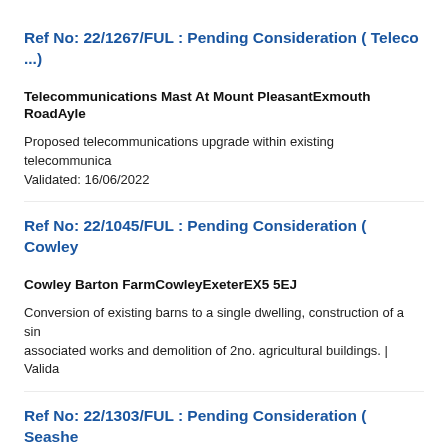Ref No: 22/1267/FUL : Pending Consideration ( Teleco ...)
Telecommunications Mast At Mount PleasantExmouth RoadAyle
Proposed telecommunications upgrade within existing telecommunica Validated: 16/06/2022
Ref No: 22/1045/FUL : Pending Consideration ( Cowley
Cowley Barton FarmCowleyExeterEX5 5EJ
Conversion of existing barns to a single dwelling, construction of a sin associated works and demolition of 2no. agricultural buildings. | Valida
Ref No: 22/1303/FUL : Pending Consideration ( Seashe
Seashells Longmeadow RoadLympstoneEX8 5LW